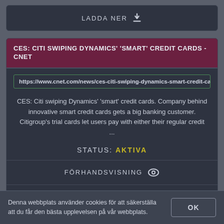LADDA NER
CES: CITI SWIPING DYNAMICS' 'SMART' CREDIT CARDS - CNET
https://www.cnet.com/news/ces-citi-swiping-dynamics-smart-credit-card
CES: Citi swiping Dynamics' 'smart' credit cards. Company behind innovative smart credit cards gets a big banking customer. Citigroup's trial cards let users pay with either their regular credit ...
STATUS: AKTIVA
FÖRHANDSVISNING
LADDA NER
Denna webbplats använder cookies för att säkerställa att du får den bästa upplevelsen på vår webbplats.